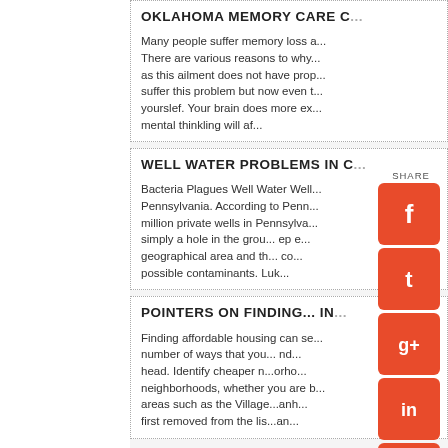OKLAHOMA MEMORY CARE C...
Many people suffer memory loss a... There are various reasons to why... as this ailment does not have prop... suffer this problem but now even t... yourslef. Your brain does more ex... mental thinkling will af...
WELL WATER PROBLEMS IN C...
Bacteria Plagues Well Water Well... Pennsylvania. According to Penn... million private wells in Pennsylva... simply a hole in the grou... ep e... geographical area and th... co... possible contaminants. Luk...
POINTERS ON FINDING... IN...
Finding affordable housing can se... number of ways that you... nd... head. Identify cheaper n...orho... neighborhoods, whether you are b... areas such as the Village...anh... first removed from the lis...an...